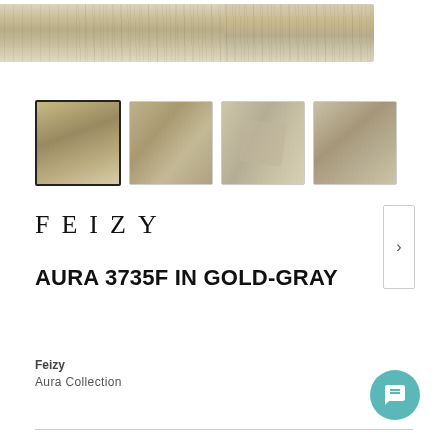[Figure (photo): Main product image of Aura 3735F rug in Gold-Gray, showing a long panoramic view of the rug with beige/tan/gray abstract pattern]
[Figure (photo): Thumbnail row of four rug product images: 1) front view selected, 2) texture close-up, 3) corner fold detail, 4) back/rolled view. Navigation arrow on the right.]
FEIZY
AURA 3735F IN GOLD-GRAY
Feizy
Aura Collection